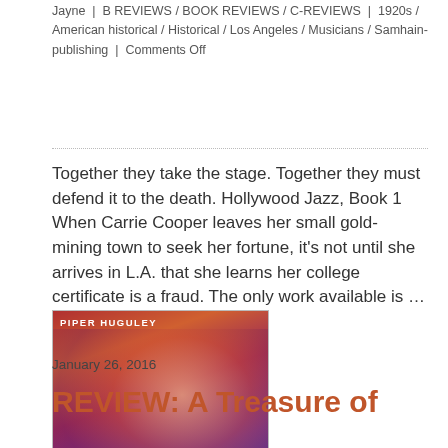Jayne | B REVIEWS / BOOK REVIEWS / C-REVIEWS | 1920s / American historical / Historical / Los Angeles / Musicians / Samhain-publishing | Comments Off
Together they take the stage. Together they must defend it to the death. Hollywood Jazz, Book 1 When Carrie Cooper leaves her small gold-mining town to seek her fortune, it’s not until she arrives in L.A. that she learns her college certificate is a fraud. The only work available is ... more >
[Figure (photo): Book cover for 'Treasure' by Piper Huguley, showing a woman with reddish/purple tones]
January 26, 2016
REVIEW: A Treasure of